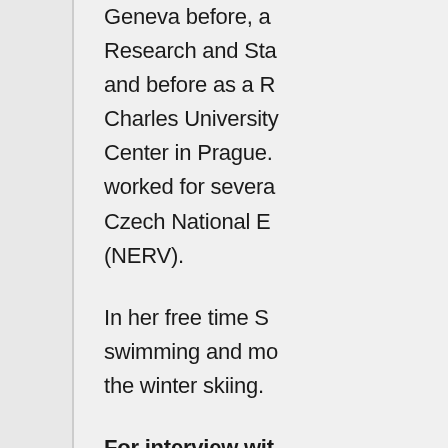Geneva before, Research and Sta and before as a R Charles University Center in Prague. worked for severa Czech National E (NERV).
In her free time S swimming and mo the winter skiing.
For interview wit follow this link.